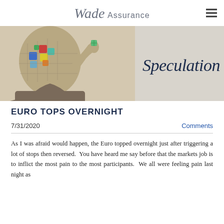Wade Assurance
[Figure (illustration): Banner illustration showing a man with a jigsaw-puzzle head holding a puzzle piece, beside the italic text 'Speculation' on a light grey background.]
EURO TOPS OVERNIGHT
7/31/2020   Comments
As I was afraid would happen, the Euro topped overnight just after triggering a lot of stops then reversed.  You have heard me say before that the markets job is to inflict the most pain to the most participants.  We all were feeling pain last night as